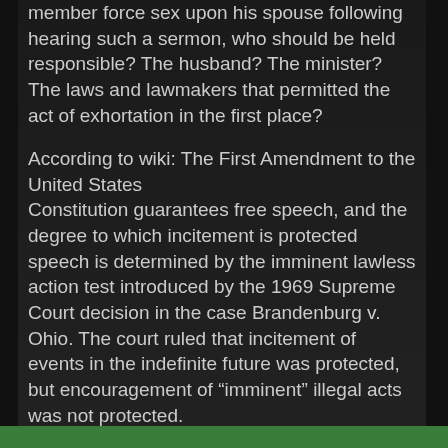member force sex upon his spouse following hearing such a sermon, who should be held responsible? The husband? The minister? The laws and lawmakers that permitted the act of exhortation in the first place?
According to wiki: The First Amendment to the United States Constitution guarantees free speech, and the degree to which incitement is protected speech is determined by the imminent lawless action test introduced by the 1969 Supreme Court decision in the case Brandenburg v. Ohio. The court ruled that incitement of events in the indefinite future was protected, but encouragement of “imminent” illegal acts was not protected.
Are we simply too dense, too stupid, to link one act (the preaching) to another (the within-marriage) rape?  In many instances,